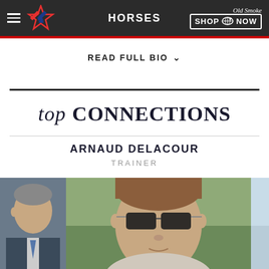HORSES
READ FULL BIO ∨
top CONNECTIONS
ARNAUD DELACOUR
TRAINER
[Figure (photo): Photo of a man in a suit on the left edge, partially visible]
[Figure (photo): Center photo of a man wearing sunglasses outdoors, close-up portrait]
[Figure (photo): Right edge photo, partially visible, blue/light background]